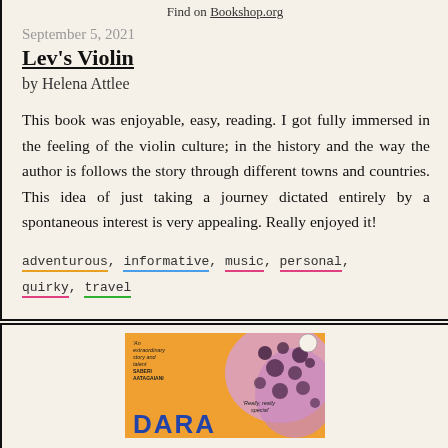Find on Bookshop.org
September 5, 2021
Lev's Violin
by Helena Attlee
This book was enjoyable, easy, reading. I got fully immersed in the feeling of the violin culture; in the history and the way the author is follows the story through different towns and countries. This idea of just taking a journey dictated entirely by a spontaneous interest is very appealing. Really enjoyed it!
adventurous, informative, music, personal, quirky, travel
[Figure (photo): Bottom portion of a book cover, partially visible, with orange and pink/purple background, text reading DARA, small Penguin logo, and partial blurb text.]